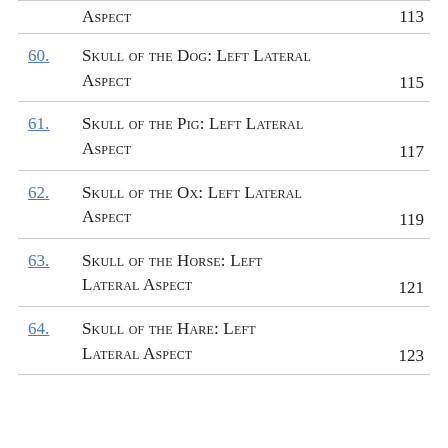Aspect  113
60. Skull of the Dog: Left Lateral Aspect  115
61. Skull of the Pig: Left Lateral Aspect  117
62. Skull of the Ox: Left Lateral Aspect  119
63. Skull of the Horse: Left Lateral Aspect  121
64. Skull of the Hare: Left Lateral Aspect  123